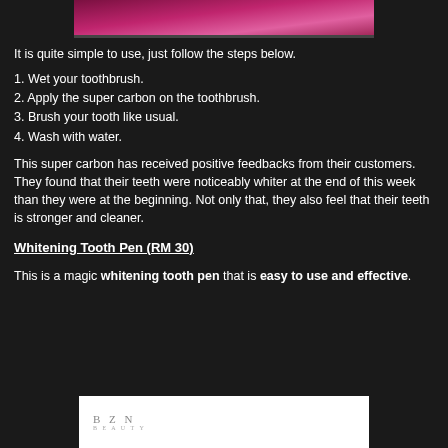[Figure (photo): Partial photo of a product (tooth whitening), pink/magenta tones, top of page]
It is quite simple to use, just follow the steps below.
1. Wet your toothbrush.
2. Apply the super carbon on the toothbrush.
3. Brush your tooth like usual.
4. Wash with water.
This super carbon has received positive feedbacks from their customers. They found that their teeth were noticeably whiter at the end of this week than they were at the beginning. Not only that, they also feel that their teeth is stronger and cleaner.
Whitening Tooth Pen (RM 30)
This is a magic whitening tooth pen that is easy to use and effective.
[Figure (logo): BZN Beauty logo on white background, bottom of page]